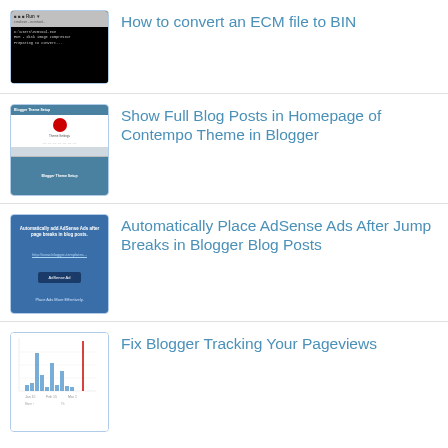[Figure (screenshot): Terminal/command prompt window screenshot thumbnail - black background with grey top bar]
How to convert an ECM file to BIN
[Figure (screenshot): Blog settings screenshots stacked - showing Contempo Theme settings in Blogger]
Show Full Blog Posts in Homepage of Contempo Theme in Blogger
[Figure (screenshot): Blue page about automatically placing AdSense ads after jump breaks in Blogger]
Automatically Place AdSense Ads After Jump Breaks in Blogger Blog Posts
[Figure (screenshot): Blogger analytics chart showing pageviews with bar chart and red marker]
Fix Blogger Tracking Your Pageviews